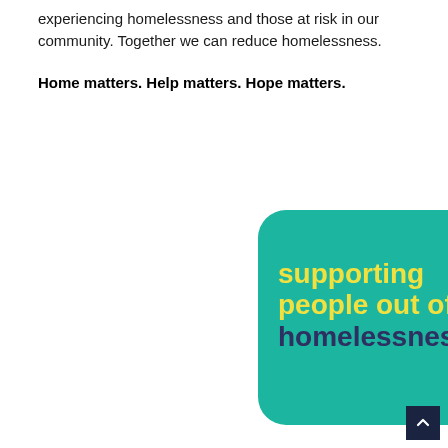experiencing homelessness and those at risk in our community. Together we can reduce homelessness.
Home matters. Help matters. Hope matters.
[Figure (infographic): Teal rounded rectangle with text 'supporting people out of homelessness' in yellow and dark navy bold font, partially cropped on right side]